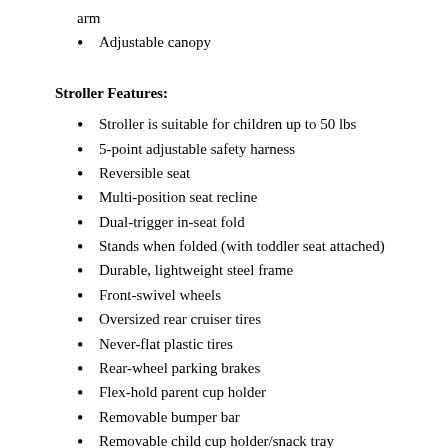arm
Adjustable canopy
Stroller Features:
Stroller is suitable for children up to 50 lbs
5-point adjustable safety harness
Reversible seat
Multi-position seat recline
Dual-trigger in-seat fold
Stands when folded (with toddler seat attached)
Durable, lightweight steel frame
Front-swivel wheels
Oversized rear cruiser tires
Never-flat plastic tires
Rear-wheel parking brakes
Flex-hold parent cup holder
Removable bumper bar
Removable child cup holder/snack tray